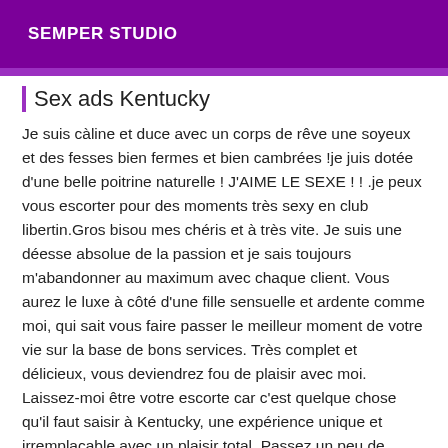SEMPER STUDIO
Sex ads Kentucky
Je suis càline et duce avec un corps de rêve une soyeux et des fesses bien fermes et bien cambrées !je juis dotée d'une belle poitrine naturelle ! J'AIME LE SEXE ! ! .je peux vous escorter pour des moments très sexy en club libertin.Gros bisou mes chéris et à très vite. Je suis une déesse absolue de la passion et je sais toujours m'abandonner au maximum avec chaque client. Vous aurez le luxe à côté d'une fille sensuelle et ardente comme moi, qui sait vous faire passer le meilleur moment de votre vie sur la base de bons services. Très complet et délicieux, vous deviendrez fou de plaisir avec moi. Laissez-moi être votre escorte car c'est quelque chose qu'il faut saisir à Kentucky, une expérience unique et irremplaçable avec un plaisir total. Passez un peu de temps avec la précieuse et exquise fille ! qui peut vous accompagner du lundi au dimanche :